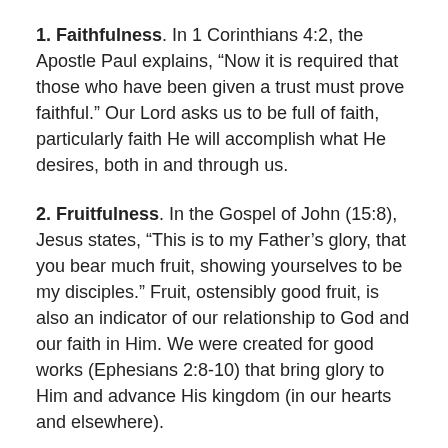1. Faithfulness. In 1 Corinthians 4:2, the Apostle Paul explains, “Now it is required that those who have been given a trust must prove faithful.” Our Lord asks us to be full of faith, particularly faith He will accomplish what He desires, both in and through us.
2. Fruitfulness. In the Gospel of John (15:8), Jesus states, “This is to my Father’s glory, that you bear much fruit, showing yourselves to be my disciples.” Fruit, ostensibly good fruit, is also an indicator of our relationship to God and our faith in Him. We were created for good works (Ephesians 2:8-10) that bring glory to Him and advance His kingdom (in our hearts and elsewhere).
So, in our work today, success is more than any